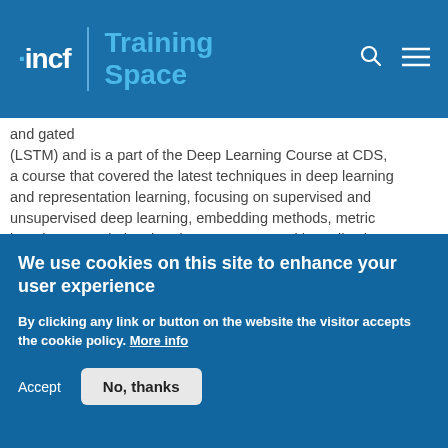incf | Training Space
and gated (LSTM) and is a part of the Deep Learning Course at CDS, a course that covered the latest techniques in deep learning and representation learning, focusing on supervised and unsupervised deep learning, embedding methods, metric learning, convolutional and recurrent nets, with applications to computer vision, natural language understanding, and speech recognition. Prerequisites for this course include: Introduction to Deep Learning and Introduction to Data Science or a Graduate Level Machine Learning
We use cookies on this site to enhance your user experience
By clicking any link or button on the website the visitor accepts the cookie policy. More info
Accept
No, thanks